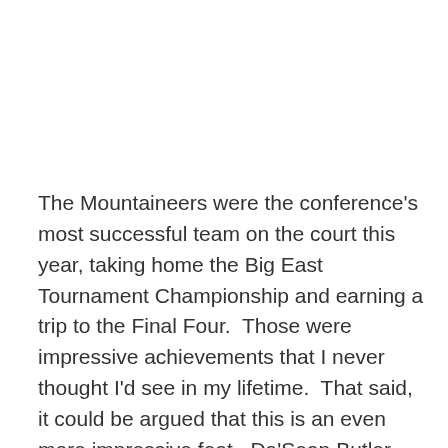The Mountaineers were the conference's most successful team on the court this year, taking home the Big East Tournament Championship and earning a trip to the Final Four.  Those were impressive achievements that I never thought I'd see in my lifetime.  That said, it could be argued that this is an even more impressive feat.  Da'Sean Butler and Wellington Smith, the team's two seniors, both earned their degrees.  Jonnie West also graduated and will forgoe his final year of eligibility.  Cam Thouroughman and Joe Mazzulla, both seniors this coming year, have both already graduated and are enrolled in graduate